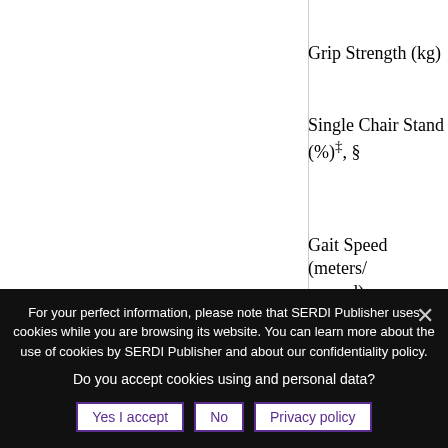Grip Strength (kg)
Single Chair Stand (%)‡, §
Gait Speed (meters/second)
Characteristics of those testing m…
*BMI, Body Mass Index; †% Body Fat meas…
For your perfect information, please note that SERDI Publisher uses cookies while you are browsing its website. You can learn more about the use of cookies by SERDI Publisher and about our confidentiality policy.
Do you accept cookies using and personal data?